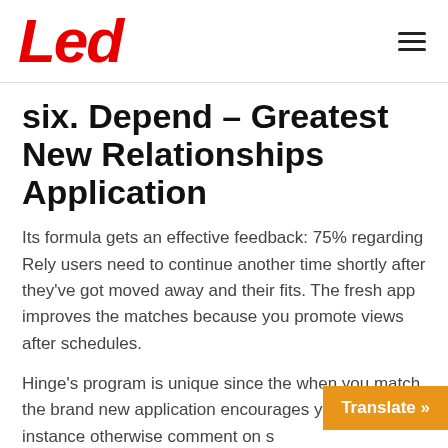Led
six. Depend – Greatest New Relationships Application
Its formula gets an effective feedback: 75% regarding Rely users need to continue another time shortly after they've got moved away and their fits. The fresh app improves the matches because you promote views after schedules.
Hinge's program is unique since the when you match, the brand new application encourages you to as for instance otherwise comment on s